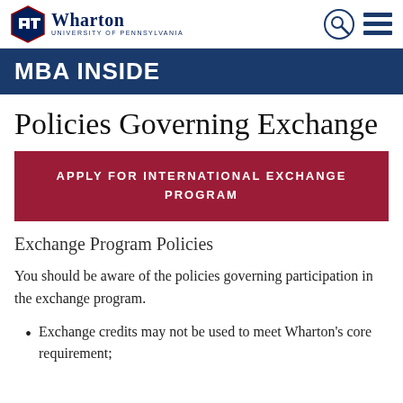Wharton University of Pennsylvania — MBA INSIDE
Policies Governing Exchange
[Figure (infographic): APPLY FOR INTERNATIONAL EXCHANGE PROGRAM button in dark red]
Exchange Program Policies
You should be aware of the policies governing participation in the exchange program.
Exchange credits may not be used to meet Wharton's core requirement;